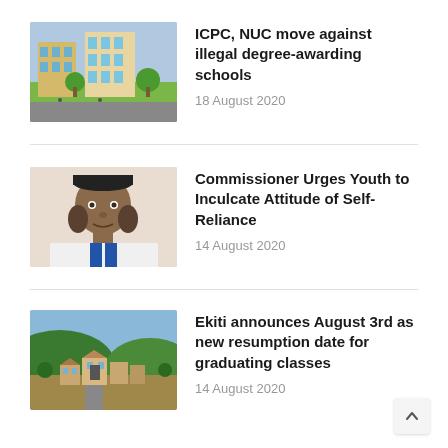[Figure (photo): Aerial view of a university campus with modern buildings and green trees]
ICPC, NUC move against illegal degree-awarding schools
18 August 2020
[Figure (photo): Portrait of a man wearing a black cap and blue and white traditional attire]
Commissioner Urges Youth to Inculcate Attitude of Self-Reliance
14 August 2020
[Figure (photo): Aerial view of a town with buildings and green hills in the background]
Ekiti announces August 3rd as new resumption date for graduating classes
14 August 2020